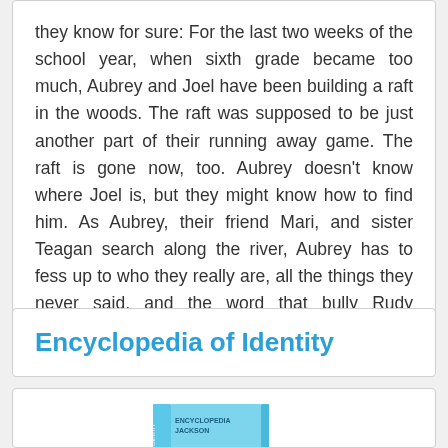they know for sure: For the last two weeks of the school year, when sixth grade became too much, Aubrey and Joel have been building a raft in the woods. The raft was supposed to be just another part of their running away game. The raft is gone now, too. Aubrey doesn't know where Joel is, but they might know how to find him. As Aubrey, their friend Mari, and sister Teagan search along the river, Aubrey has to fess up to who they really are, all the things they never said, and the word that bully Rudy Thomas used that set all this into motion.
Encyclopedia of Identity
[Figure (photo): Partial view of a book cover, light blue color with partial text visible]